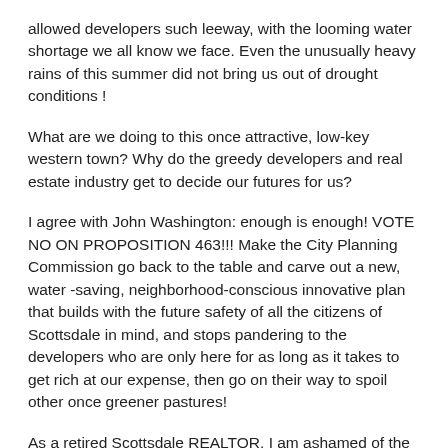allowed developers such leeway, with the looming water shortage we all know we face. Even the unusually heavy rains of this summer did not bring us out of drought conditions !
What are we doing to this once attractive, low-key western town? Why do the greedy developers and real estate industry get to decide our futures for us?
I agree with John Washington: enough is enough! VOTE NO ON PROPOSITION 463!!! Make the City Planning Commission go back to the table and carve out a new, water -saving, neighborhood-conscious innovative plan that builds with the future safety of all the citizens of Scottsdale in mind, and stops pandering to the developers who are only here for as long as it takes to get rich at our expense, then go on their way to spoil other once greener pastures!
As a retired Scottsdale REALTOR, I am ashamed of the complicity of the Scottsdale real estate community in foisting this overwhelming